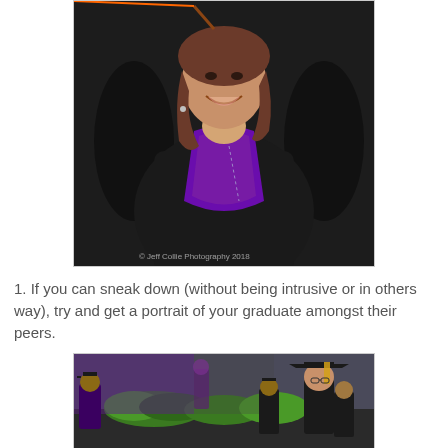[Figure (photo): A smiling female graduate in black graduation gown with purple satin hood/stole, photographed from chest up among other graduates. Watermark reads '© Jeff Collie Photography 2018'.]
1. If you can sneak down (without being intrusive or in others way), try and get a portrait of your graduate amongst their peers.
[Figure (photo): Graduation ceremony crowd scene showing graduates in black caps and gowns with purple regalia, green plants/bushes visible in background, one graduate with gold/black mortarboard visible on right.]